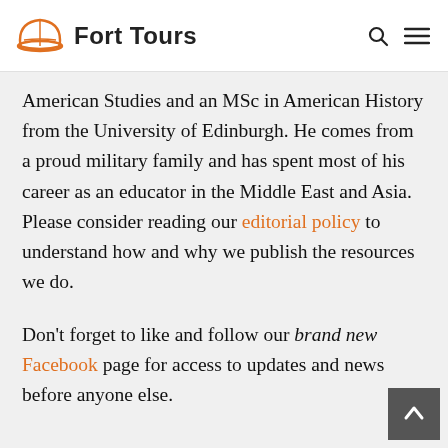Fort Tours
American Studies and an MSc in American History from the University of Edinburgh. He comes from a proud military family and has spent most of his career as an educator in the Middle East and Asia. Please consider reading our editorial policy to understand how and why we publish the resources we do.
Don't forget to like and follow our brand new Facebook page for access to updates and news before anyone else.